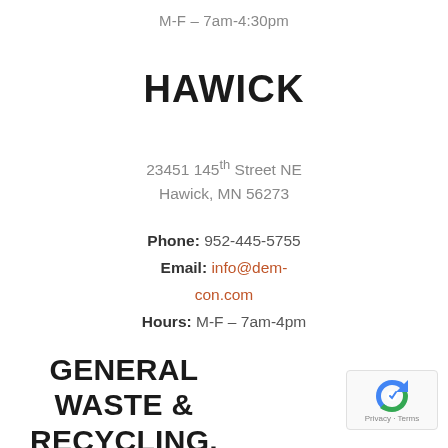M-F – 7am-4:30pm
HAWICK
23451 145th Street NE
Hawick, MN 56273
Phone: 952-445-5755
Email: info@dem-con.com
Hours: M-F – 7am-4pm
GENERAL WASTE & RECYCLING, LLC
[Figure (logo): reCAPTCHA badge with Privacy and Terms text]